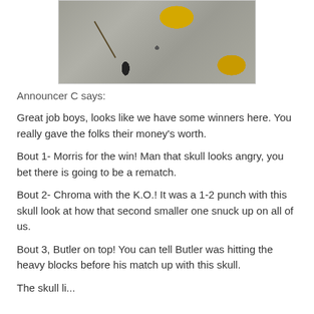[Figure (photo): Photo of a stone surface with yellow leaves and a dark twig]
Announcer C says:
Great job boys, looks like we have some winners here. You really gave the folks their money's worth.
Bout 1- Morris for the win! Man that skull looks angry, you bet there is going to be a rematch.
Bout 2- Chroma with the K.O.! It was a 1-2 punch with this skull look at how that second smaller one snuck up on all of us.
Bout 3, Butler on top! You can tell Butler was hitting the heavy blocks before his match up with this skull.
The skull li...